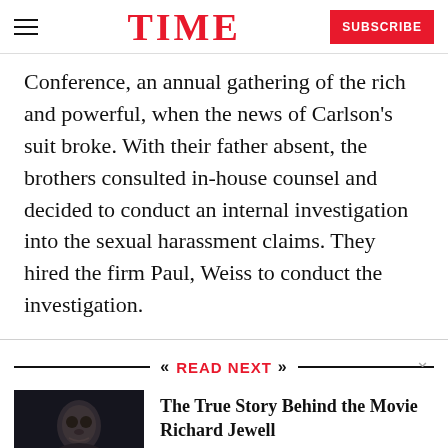TIME | SUBSCRIBE
Conference, an annual gathering of the rich and powerful, when the news of Carlson's suit broke. With their father absent, the brothers consulted in-house counsel and decided to conduct an internal investigation into the sexual harassment claims. They hired the firm Paul, Weiss to conduct the investigation.
READ NEXT
[Figure (photo): Dark portrait photo of a person, likely Richard Jewell movie still]
The True Story Behind the Movie Richard Jewell